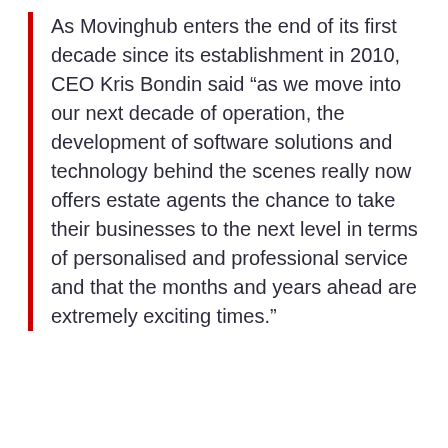As Movinghub enters the end of its first decade since its establishment in 2010, CEO Kris Bondin said “as we move into our next decade of operation, the development of software solutions and technology behind the scenes really now offers estate agents the chance to take their businesses to the next level in terms of personalised and professional service and that the months and years ahead are extremely exciting times.”